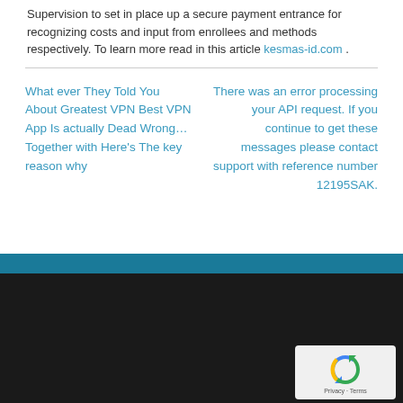Supervision to set in place up a secure payment entrance for recognizing costs and input from enrollees and methods respectively. To learn more read in this article kesmas-id.com .
What ever They Told You About Greatest VPN Best VPN App Is actually Dead Wrong… Together with Here's The key reason why
There was an error processing your API request. If you continue to get these messages please contact support with reference number 12195SAK.
[Figure (other): Teal horizontal bar dividing content from dark footer area]
[Figure (other): Dark/black footer background section with reCAPTCHA widget in bottom-right corner showing recycling arrows icon and Privacy - Terms text]